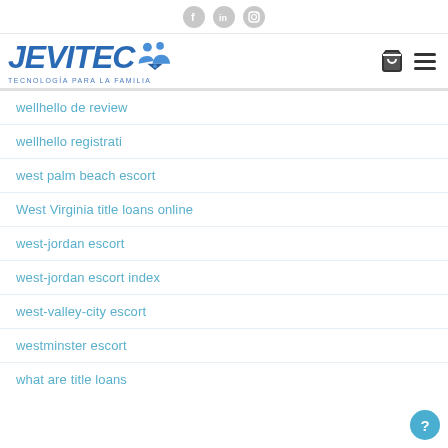Social icons: facebook, linkedin, instagram
[Figure (logo): JEVITEC logo with tagline TECNOLOGÍA PARA LA FAMILIA and navigation icons]
wellhello de review
wellhello registrati
west palm beach escort
West Virginia title loans online
west-jordan escort
west-jordan escort index
west-valley-city escort
westminster escort
what are title loans